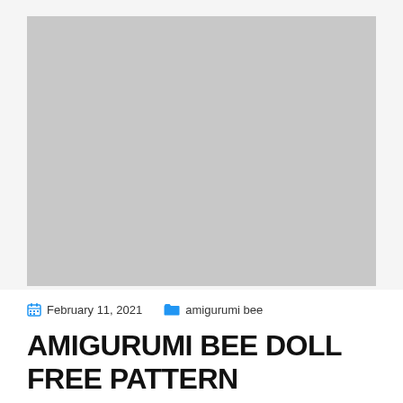[Figure (photo): Large placeholder image area with light gray background, occupying the upper portion of the page]
February 11, 2021   amigurumi bee
AMIGURUMI BEE DOLL FREE PATTERN
by admin